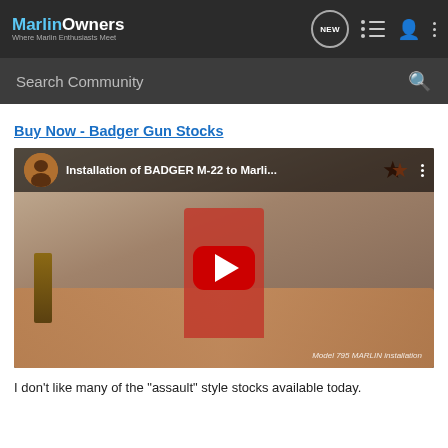MarlinOwners — Where Marlin Enthusiasts Meet
Search Community
Buy Now - Badger Gun Stocks
[Figure (screenshot): YouTube video thumbnail showing a man in a red shirt holding a rifle in a living room, with title 'Installation of BADGER M-22 to Marli...' and a red play button overlay. Watermark reads 'Model 795 MARLIN installation'.]
I don't like many of the "assault" style stocks available today.